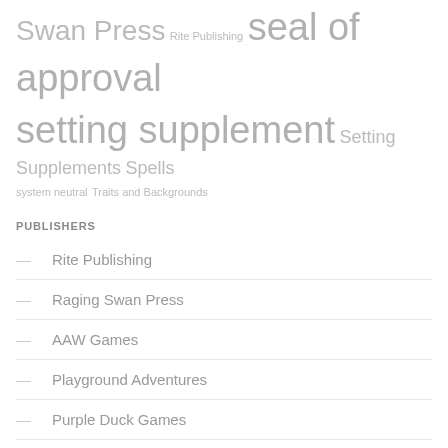Swan Press Rite Publishing seal of approval setting supplement Setting Supplements Spells system neutral Traits and Backgrounds
PUBLISHERS
— Rite Publishing
— Raging Swan Press
— AAW Games
— Playground Adventures
— Purple Duck Games
— Rogue Genius Games